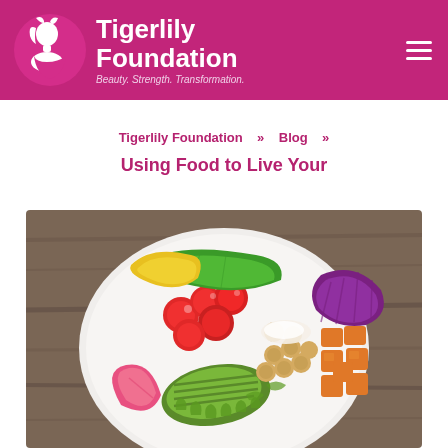[Figure (logo): Tigerlily Foundation logo: white silhouette of a woman's face on magenta circle, with text 'Tigerlily Foundation' and tagline 'Beauty. Strength. Transformation.']
Tigerlily Foundation  »  Blog  »
Using Food to Live Your
[Figure (photo): Overhead photo of a colorful grain/salad bowl on a wooden surface, containing cherry tomatoes, avocado slices, chickpeas, diced sweet potatoes, red cabbage, green lettuce, yellow bell pepper, and watermelon radish.]